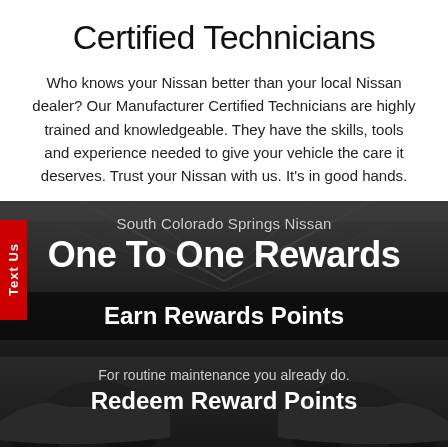Certified Technicians
Who knows your Nissan better than your local Nissan dealer? Our Manufacturer Certified Technicians are highly trained and knowledgeable. They have the skills, tools and experience needed to give your vehicle the care it deserves. Trust your Nissan with us. It's in good hands.
[Figure (infographic): Dark garage background banner with text: South Colorado Springs Nissan, One To One Rewards]
Earn Rewards Points
For routine maintenance you already do.
Redeem Reward Points